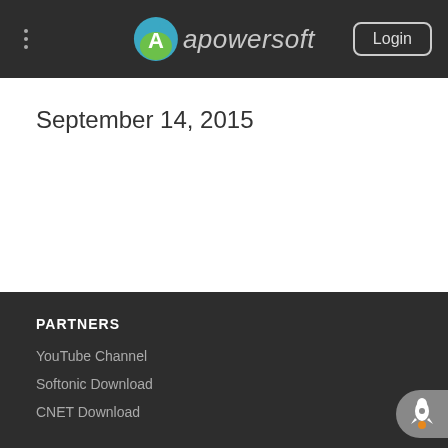Apowersoft - Login
September 14, 2015
PARTNERS
YouTube Channel
Softonic Download
CNET Download